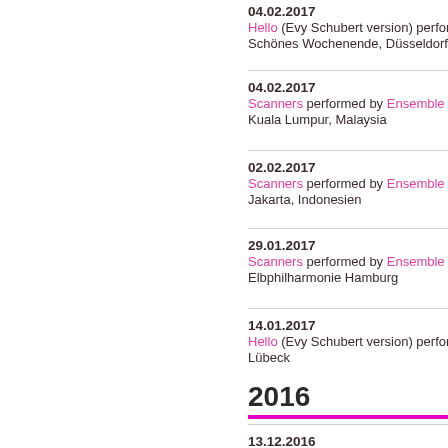04.02.2017
Hello (Evy Schubert version) performed by De…
Schönes Wochenende, Düsseldorf
04.02.2017
Scanners performed by Ensemble Resonanz
Kuala Lumpur, Malaysia
02.02.2017
Scanners performed by Ensemble Resonanz
Jakarta, Indonesien
29.01.2017
Scanners performed by Ensemble Resonanz
Elbphilharmonie Hamburg
14.01.2017
Hello (Evy Schubert version) performed by Ra…
Lübeck
2016
13.12.2016